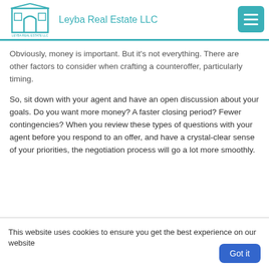Leyba Real Estate LLC
Obviously, money is important. But it's not everything. There are other factors to consider when crafting a counteroffer, particularly timing.
So, sit down with your agent and have an open discussion about your goals. Do you want more money? A faster closing period? Fewer contingencies? When you review these types of questions with your agent before you respond to an offer, and have a crystal-clear sense of your priorities, the negotiation process will go a lot more smoothly.
This website uses cookies to ensure you get the best experience on our website
Who Has More Leverage?
Ready to play hardball? Hold up, slugger...